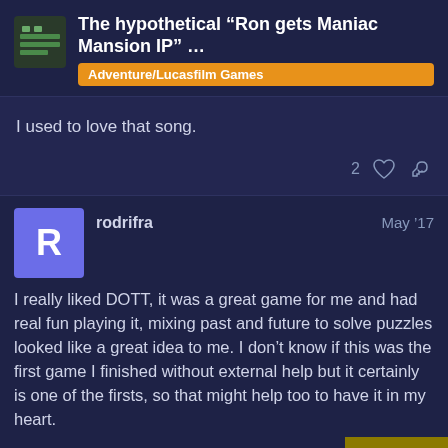The hypothetical “Ron gets Maniac Mansion IP” … Adventure/Lucasfilm Games
I used to love that song.
rodrifra May '17
I really liked DOTT, it was a great game for me and had real fun playing it, mixing past and future to solve puzzles looked like a great idea to me. I don't know if this was the first game I finished without external help but it certainly is one of the firsts, so that might help too to have it in my heart.
17 / 84